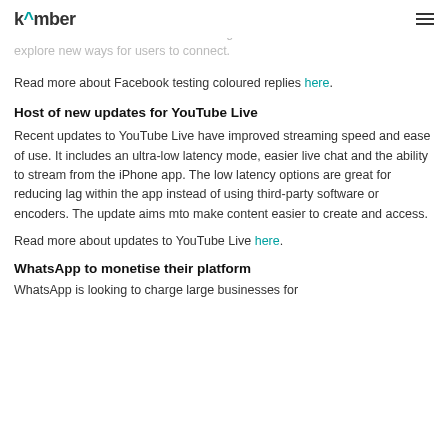kamber
There are currently no confirmed plans for roll out of the Facebook are testing the feature in a bid to explore new ways for users to connect.
Read more about Facebook testing coloured replies here.
Host of new updates for YouTube Live
Recent updates to YouTube Live have improved streaming speed and ease of use. It includes an ultra-low latency mode, easier live chat and the ability to stream from the iPhone app. The low latency options are great for reducing lag within the app instead of using third-party software or encoders. The update aims mto make content easier to create and access.
Read more about updates to YouTube Live here.
WhatsApp to monetise their platform
WhatsApp is looking to charge large businesses for